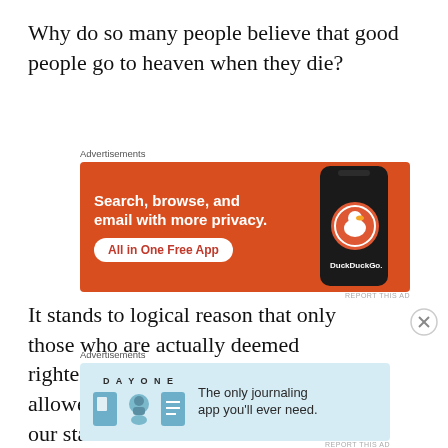Why do so many people believe that good people go to heaven when they die?
[Figure (screenshot): DuckDuckGo advertisement banner: orange background with text 'Search, browse, and email with more privacy. All in One Free App' and a phone showing the DuckDuckGo logo.]
It stands to logical reason that only those who are actually deemed righteous by Yeshua would even be allowed into a place like Heaven- but our standard of
[Figure (screenshot): DAY ONE journaling app advertisement: light blue background with DAY ONE logo, three icons, and text 'The only journaling app you'll ever need.']